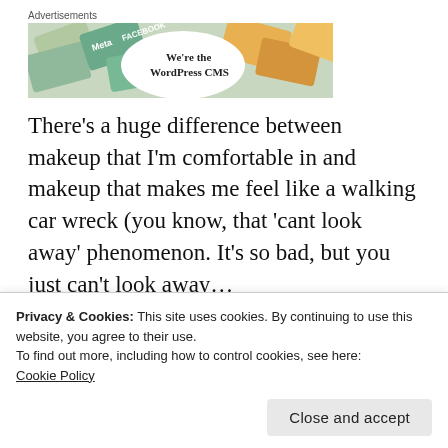[Figure (screenshot): Advertisement banner showing colorful credit card-like tiles with logos including Meta, Facebook, and other brands. White oval in center with text 'We're the WordPress CMS']
There's a huge difference between makeup that I'm comfortable in and makeup that makes me feel like a walking car wreck (you know, that 'cant look away' phenomenon. It's so bad, but you just can't look away…
Privacy & Cookies: This site uses cookies. By continuing to use this website, you agree to their use.
To find out more, including how to control cookies, see here:
Cookie Policy
Close and accept